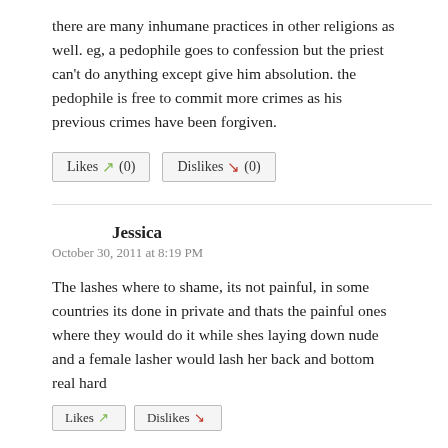there are many inhumane practices in other religions as well. eg, a pedophile goes to confession but the priest can't do anything except give him absolution. the pedophile is free to commit more crimes as his previous crimes have been forgiven.
[Figure (other): Likes (thumbs up arrow, green) (0) and Dislikes (thumbs down arrow, red) (0) voting buttons]
Jessica
October 30, 2011 at 8:19 PM
The lashes where to shame, its not painful, in some countries its done in private and thats the painful ones where they would do it while shes laying down nude and a female lasher would lash her back and bottom real hard